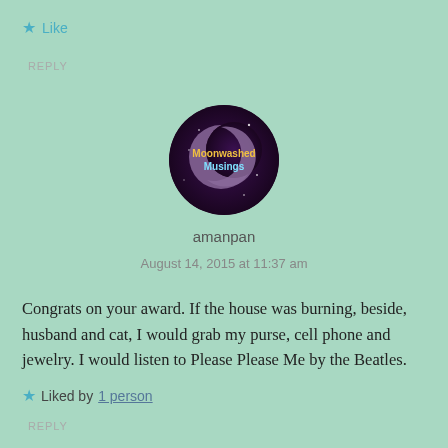★ Like
REPLY
[Figure (logo): Circular avatar logo for 'Moonwashed Musings' — dark purple/maroon background with a crescent moon and text 'Moonwashed Musings' in colorful letters]
amanpan
August 14, 2015 at 11:37 am
Congrats on your award. If the house was burning, beside, husband and cat, I would grab my purse, cell phone and jewelry. I would listen to Please Please Me by the Beatles.
★ Liked by 1 person
REPLY